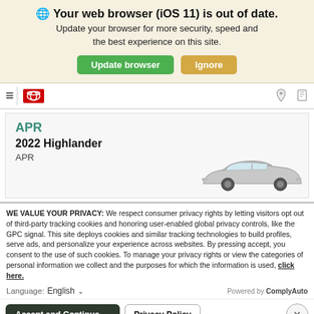🌐 Your web browser (iOS 11) is out of date. Update your browser for more security, speed and the best experience on this site.
Update browser | Ignore
[Figure (screenshot): Toyota dealership website navigation bar with hamburger menu, Toyota logo, location and phone icons]
APR
2022 Highlander
APR
[Figure (photo): Side view of a 2022 Toyota Highlander SUV in silver/white]
WE VALUE YOUR PRIVACY: We respect consumer privacy rights by letting visitors opt out of third-party tracking cookies and honoring user-enabled global privacy controls, like the GPC signal. This site deploys cookies and similar tracking technologies to build profiles, serve ads, and personalize your experience across websites. By pressing accept, you consent to the use of such cookies. To manage your privacy rights or view the categories of personal information we collect and the purposes for which the information is used, click here.
Language: English ✓ Powered by ComplyAuto
Accept and Continue → | Privacy Policy | ×